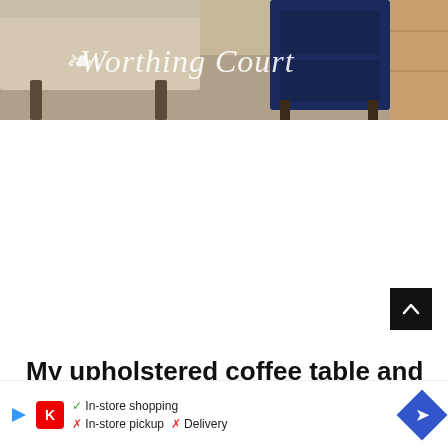[Figure (photo): A blog header photo showing upholstered furniture (sofa/bench) with a navy blue cabinet in the background on a wood floor, overlaid with script text reading 'Worthing Court']
My upholstered coffee table and couch sit
dire... ve
adde...